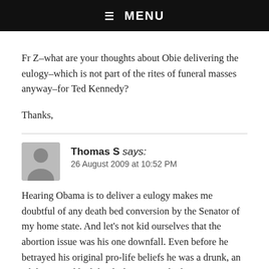☰ MENU
Fr Z–what are your thoughts about Obie delivering the eulogy–which is not part of the rites of funeral masses anyway–for Ted Kennedy?
Thanks,
Thomas S says:
26 August 2009 at 10:52 PM
Hearing Obama is to deliver a eulogy makes me doubtful of any death bed conversion by the Senator of my home state. And let's not kid ourselves that the abortion issue was his one downfall. Even before he betrayed his original pro-life beliefs he was a drunk, an adulterer, and had that little motor vehicle